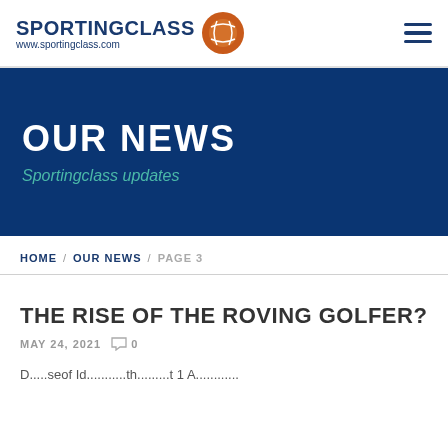SPORTINGCLASS www.sportingclass.com
OUR NEWS
Sportingclass updates
HOME / OUR NEWS / PAGE 3
THE RISE OF THE ROVING GOLFER?
MAY 24, 2021  0
Page excerpt text begins...